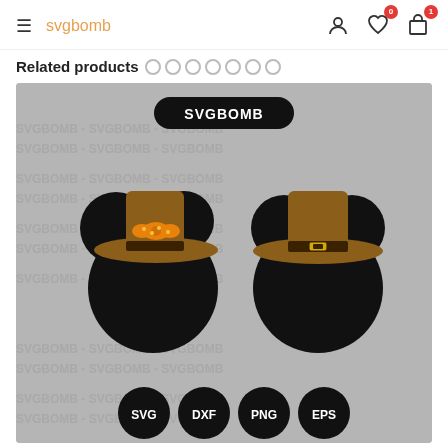svgbomb — navigation header with hamburger menu, logo, user icon, wishlist (0), cart (1)
Related products
[Figure (illustration): Product image from SVGBomb showing two Mickey/Minnie Mouse silhouette heads wearing Thanksgiving pilgrim hats. Left figure (Minnie) has a brown pilgrim hat with an orange polka-dot bow. Right figure (Mickey) has a brown pilgrim hat with a yellow buckle. Bottom shows format badges: SVG, DXF, PNG, EPS. Background is grey stone texture with SVGBOMB watermark text repeated.]